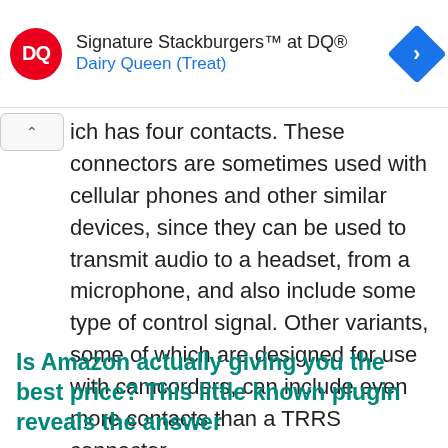[Figure (screenshot): Dairy Queen advertisement banner with DQ logo, text 'Signature Stackburgers™ at DQ® Dairy Queen (Treat)', and a blue navigation arrow icon]
ich has four contacts. These connectors are sometimes used with cellular phones and other similar devices, since they can be used to transmit audio to a headset, from a microphone, and also include some type of control signal. Other variants, some of which are designed for use with camcorders, can include even more contacts than a TRRS connector.
Is Amazon actually giving you the best price? This little known plugin reveals the answer